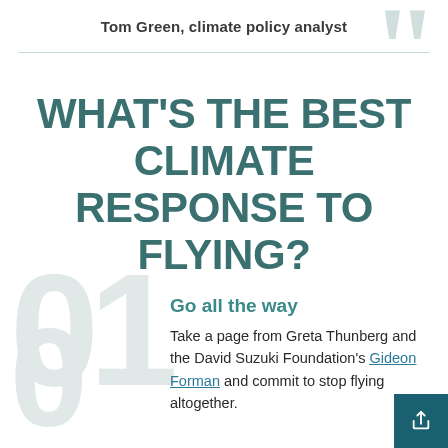Tom Green, climate policy analyst
WHAT'S THE BEST CLIMATE RESPONSE TO FLYING?
Go all the way
Take a page from Greta Thunberg and the David Suzuki Foundation's Gideon Forman and commit to stop flying altogether.